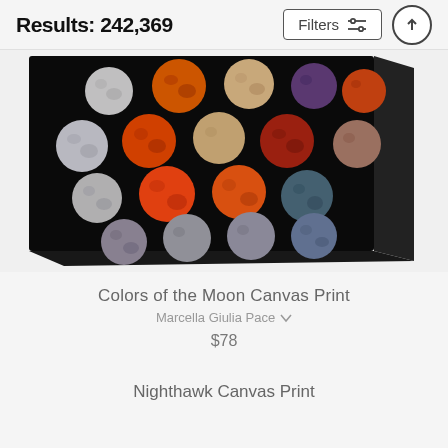Results: 242,369
[Figure (photo): Canvas print artwork showing multiple full moon images in various colors (gray, orange, red, blue, purple) arranged in a heart-like pattern on a black background, displayed on a stretched canvas with visible edge wrap.]
Colors of the Moon Canvas Print
Marcella Giulia Pace
$78
Nighthawk Canvas Print